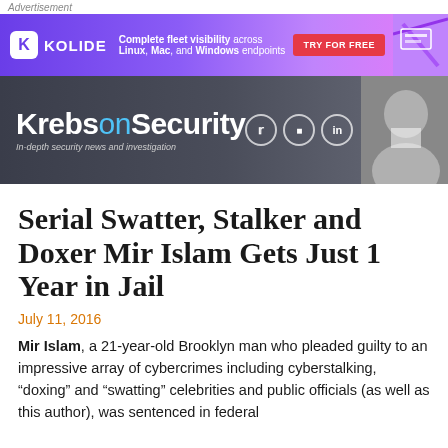Advertisement
[Figure (infographic): Kolide advertisement banner: Complete fleet visibility across Linux, Mac, and Windows endpoints. TRY FOR FREE button.]
[Figure (infographic): KrebsOnSecurity website header banner with logo, tagline 'In-depth security news and investigation', photo of Brian Krebs, and social media icons (Twitter, RSS, LinkedIn).]
Serial Swatter, Stalker and Doxer Mir Islam Gets Just 1 Year in Jail
July 11, 2016
Mir Islam, a 21-year-old Brooklyn man who pleaded guilty to an impressive array of cybercrimes including cyberstalking, “doxing” and “swatting” celebrities and public officials (as well as this author), was sentenced in federal